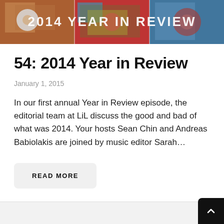[Figure (photo): Three blurred album cover images side by side with white text overlay reading '2014 YEAR IN REVIEW' at the top]
54: 2014 Year in Review
January 1, 2015
In our first annual Year in Review episode, the editorial team at LiL discuss the good and bad of what was 2014. Your hosts Sean Chin and Andreas Babiolakis are joined by music editor Sarah…
READ MORE